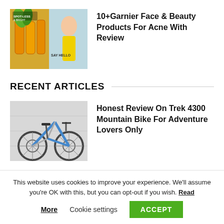[Figure (photo): Garnier beauty products collage with a woman posing, showing skincare bottles and a woman in yellow dress]
10+Garnier Face & Beauty Products For Acne With Review
RECENT ARTICLES
[Figure (photo): Blue and silver Trek 4300 mountain bike against a light grey wall]
Honest Review On Trek 4300 Mountain Bike For Adventure Lovers Only
This website uses cookies to improve your experience. We'll assume you're OK with this, but you can opt-out if you wish. Read More   Cookie settings   ACCEPT